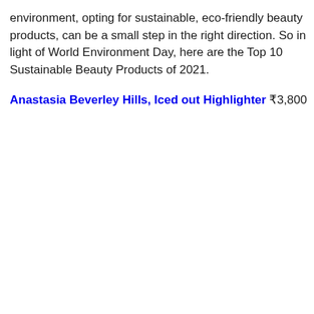environment, opting for sustainable, eco-friendly beauty products, can be a small step in the right direction. So in light of World Environment Day, here are the Top 10 Sustainable Beauty Products of 2021.
Anastasia Beverley Hills, Iced out Highlighter ₹3,800